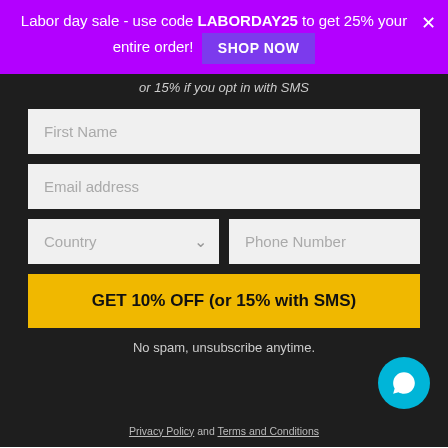Labor day sale - use code LABORDAY25 to get 25% your entire order! SHOP NOW
or 15% if you opt in with SMS
First Name
Email address
Country
Phone Number
GET 10% OFF (or 15% with SMS)
No spam, unsubscribe anytime.
Privacy Policy and Terms and Conditions